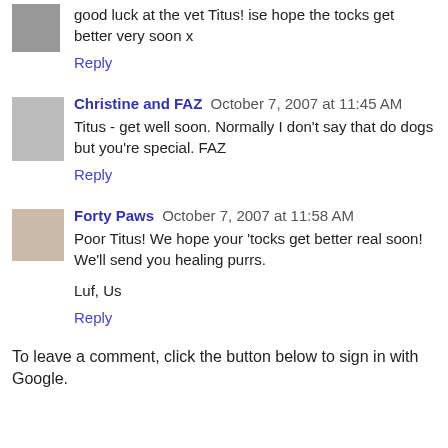good luck at the vet Titus! ise hope the tocks get better very soon x
Reply
Christine and FAZ  October 7, 2007 at 11:45 AM
Titus - get well soon. Normally I don't say that do dogs but you're special. FAZ
Reply
Forty Paws  October 7, 2007 at 11:58 AM
Poor Titus! We hope your 'tocks get better real soon! We'll send you healing purrs.

Luf, Us
Reply
To leave a comment, click the button below to sign in with Google.